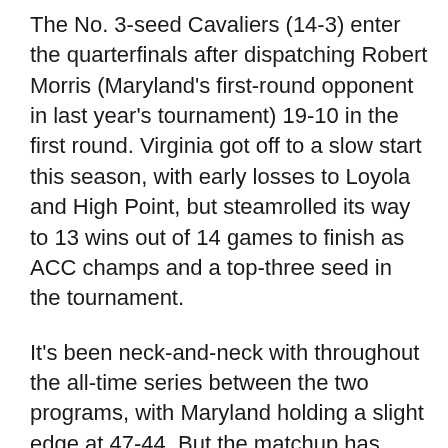The No. 3-seed Cavaliers (14-3) enter the quarterfinals after dispatching Robert Morris (Maryland's first-round opponent in last year's tournament) 19-10 in the first round. Virginia got off to a slow start this season, with early losses to Loyola and High Point, but steamrolled its way to 13 wins out of 14 games to finish as ACC champs and a top-three seed in the tournament.
It's been neck-and-neck with throughout the all-time series between the two programs, with Maryland holding a slight edge at 47-44. But the matchup has since become dormant, as the squads haven't met in over five years. Despite there being a significant gap between this weekend's game and the most recent meeting in 2014, head coach John Tillman says there's still some semblances of Dom Starsia's tenure left over with this year's Cavaliers squad.